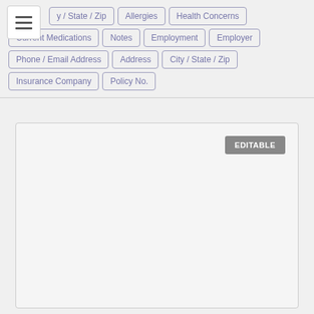y / State / Zip
Allergies
Health Concerns
Current Medications
Notes
Employment
Employer
Phone / Email Address
Address
City / State / Zip
Insurance Company
Policy No.
[Figure (other): Editable content area with EDITABLE button label in top right corner]